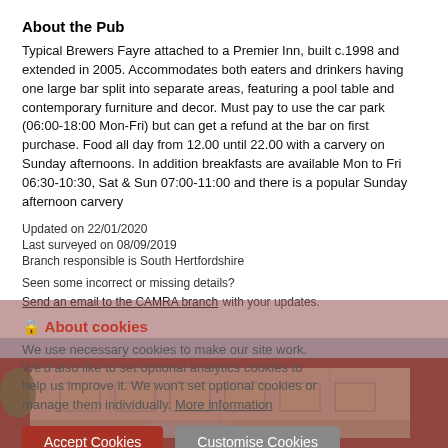About the Pub
Typical Brewers Fayre attached to a Premier Inn, built c.1998 and extended in 2005. Accommodates both eaters and drinkers having one large bar split into separate areas, featuring a pool table and contemporary furniture and decor. Must pay to use the car park (06:00-18:00 Mon-Fri) but can get a refund at the bar on first purchase. Food all day from 12.00 until 22.00 with a carvery on Sunday afternoons. In addition breakfasts are available Mon to Fri 06:30-10:30, Sat & Sun 07:00-11:00 and there is a popular Sunday afternoon carvery
Updated on 22/01/2020
Last surveyed on 08/09/2019
Branch responsible is South Hertfordshire
Seen some incorrect or missing details?
Send an email to the CAMRA branch with your updates.
[Figure (screenshot): Cookie consent overlay with Accept Cookies and Customise Cookies buttons, partially overlaid on building photo]
[Figure (photo): Photo of a pub building exterior, brick structure with signage visible at the bottom of the page]